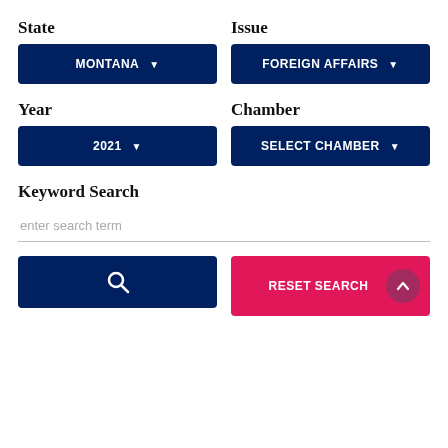State
[Figure (screenshot): Dropdown button showing 'MONTANA' with a down arrow, dark navy background]
Issue
[Figure (screenshot): Dropdown button showing 'FOREIGN AFFAIRS' with a down arrow, dark navy background]
Year
[Figure (screenshot): Dropdown button showing '2021' with a down arrow, dark navy background]
Chamber
[Figure (screenshot): Dropdown button showing 'SELECT CHAMBER' with a down arrow, dark navy background]
Keyword Search
enter search term
[Figure (screenshot): Search button with magnifying glass icon, dark navy background]
[Figure (screenshot): Reset Search button with up arrow circle, pink/red background]